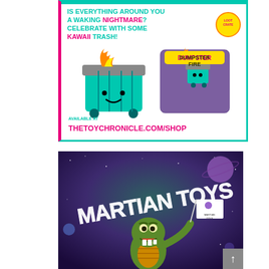[Figure (illustration): Advertisement for Dumpster Fire toy by Loot Crate. Teal background with pink left border. Text reads 'IS EVERYTHING AROUND YOU A WAKING NIGHTMARE? CELEBRATE WITH SOME KAWAII TRASH!' with a kawaii teal dumpster on fire toy figure and its purple packaging box. Available at THETOYCHRONICLE.COM/SHOP]
[Figure (illustration): Martian Toys advertisement showing a green monster/dinosaur character holding a flag with the Martian Toys logo, set against a purple/teal space background with the stylized 'MARTIAN TOYS' text in white graffiti lettering.]